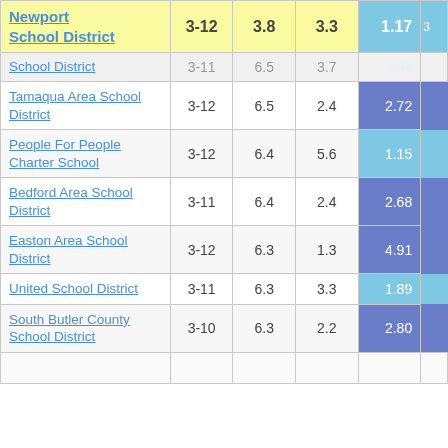| School District | Grades | Col3 | Col4 | Col5 | Col6 |
| --- | --- | --- | --- | --- | --- |
| Newport School District | 3-12 | 3.8 | 3.3 | 1.17 | 3 |
| School District (partial) | 3-11 | 6.5 | 3.7 | 1.74 |  |
| Tamaqua Area School District | 3-12 | 6.5 | 2.4 | 2.72 |  |
| People For People Charter School | 3-12 | 6.4 | 5.6 | 1.15 |  |
| Bedford Area School District | 3-11 | 6.4 | 2.4 | 2.68 |  |
| Easton Area School District | 3-12 | 6.3 | 1.3 | 4.91 |  |
| United School District | 3-11 | 6.3 | 3.3 | 1.89 |  |
| South Butler County School District | 3-10 | 6.3 | 2.2 | 2.80 |  |